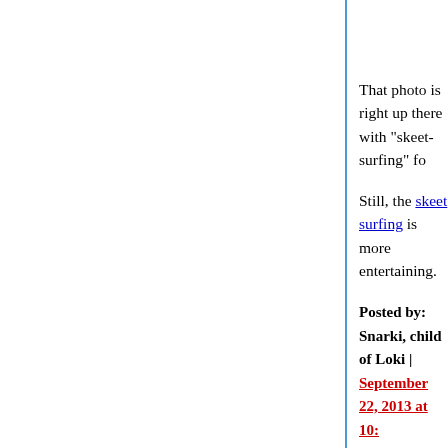That photo is right up there with "skeet-surfing" fo
Still, the skeet surfing is more entertaining.
Posted by: Snarki, child of Loki | September 22, 2013 at 10:
move everyone cradle to grave into Medicare insu
IMO the best possible result from the ACA will be annoyed with how half-@ssed our public respons they just decide to go for wall-to-wall Medicare.
I'm not even looking for a wonderful smorgasbord happy to see something like your bog-standard e
There's plenty of room for a private aftermarket if
Checkups, hospital admissions, reasonable cover and/or other procedures recommended by your p generic pharma.
Kids get as many office visits as they need, new p natal attention.